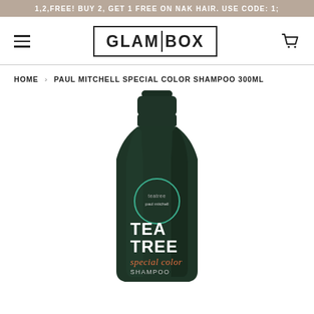1,2,FREE! BUY 2, GET 1 FREE ON NAK HAIR. USE CODE: 1;
[Figure (logo): GLAMBOX logo with hamburger menu icon on left and cart icon on right]
HOME › PAUL MITCHELL SPECIAL COLOR SHAMPOO 300ML
[Figure (photo): Paul Mitchell Tea Tree Special Color Shampoo 300ml bottle in dark green with teal and orange label text]